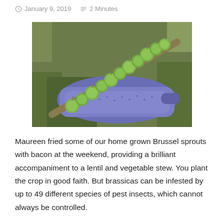January 9, 2019   2 Minutes
[Figure (photo): A stalk of home-grown Brussels sprouts laid across a purple/blue plastic colander, resting on grass outdoors.]
Maureen fried some of our home grown Brussel sprouts with bacon at the weekend, providing a brilliant accompaniment to a lentil and vegetable stew. You plant the crop in good faith. But brassicas can be infested by up to 49 different species of pest insects, which cannot always be controlled.